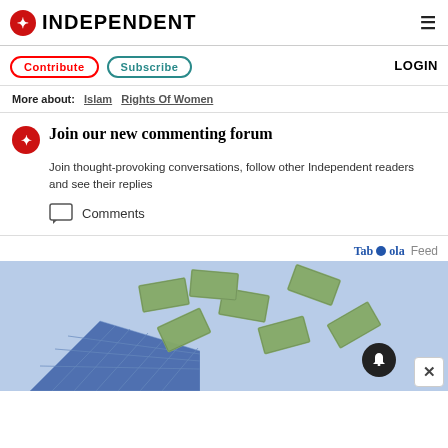INDEPENDENT
Contribute  Subscribe  LOGIN
More about: Islam  Rights Of Women
Join our new commenting forum
Join thought-provoking conversations, follow other Independent readers and see their replies
Comments
Taboola Feed
[Figure (photo): Advertisement showing solar panels and flying US dollar bills with notification bell and close button overlay]